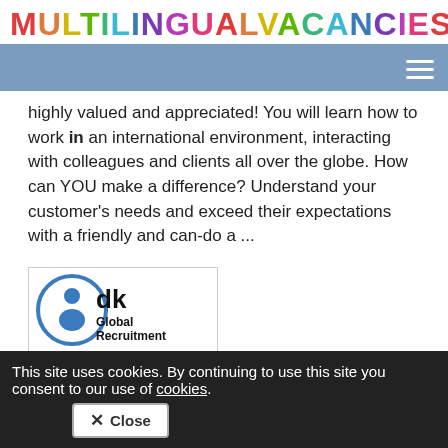MULTILINGUALVACANCIES.COM
highly valued and appreciated! You will learn how to work in an international environment, interacting with colleagues and clients all over the globe. How can YOU make a difference? Understand your customer's needs and exceed their expectations with a friendly and can-do a ...
[Figure (logo): DK Global Recruitment company logo — circular blue icon with a figure and 'dk' text beside it, followed by 'Global Recruitment' in black text]
DK Global Recruitment
This site uses cookies. By continuing to use this site you consent to our use of cookies.